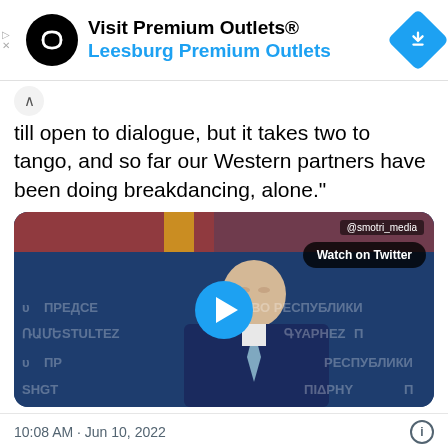[Figure (other): Advertisement banner for Visit Premium Outlets® / Leesburg Premium Outlets with black circular logo and blue diamond navigation icon]
till open to dialogue, but it takes two to tango, and so far our Western partners have been doing breakdancing, alone."
[Figure (other): Embedded Twitter video player showing a man in a dark suit speaking at a press conference with Cyrillic and Armenian text backdrop. Play button overlay. Watermark @smotri_media. Watch on Twitter button.]
10:08 AM · Jun 10, 2022
♥ 4K   Reply   Copy link